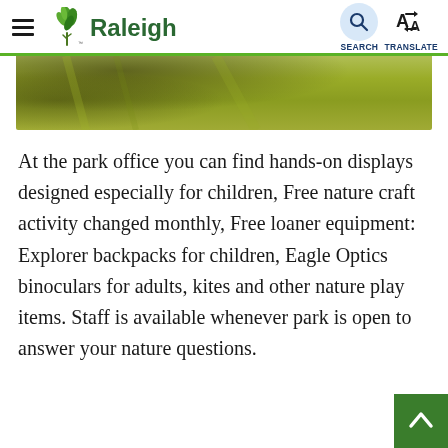Raleigh — navigation bar with hamburger menu, Raleigh logo, Search and Translate buttons
[Figure (photo): Partial photo of a grassy park area with tree shadows, cropped at top]
At the park office you can find hands-on displays designed especially for children, Free nature craft activity changed monthly, Free loaner equipment: Explorer backpacks for children, Eagle Optics binoculars for adults, kites and other nature play items. Staff is available whenever park is open to answer your nature questions.